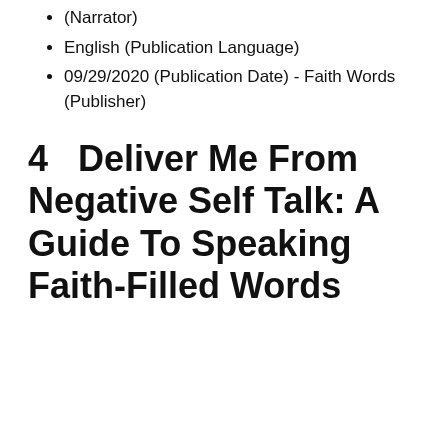(Narrator)
English (Publication Language)
09/29/2020 (Publication Date) - Faith Words (Publisher)
4   Deliver Me From Negative Self Talk: A Guide To Speaking Faith-Filled Words
[Figure (illustration): Book listing card with dark navy border and rank badge showing number 4. Inside shows the book cover for 'Deliver Me From Negative' with a purple/lavender gradient background with light rays, displaying text DELIVER ME FROM NEGATIVE in bold serif font.]